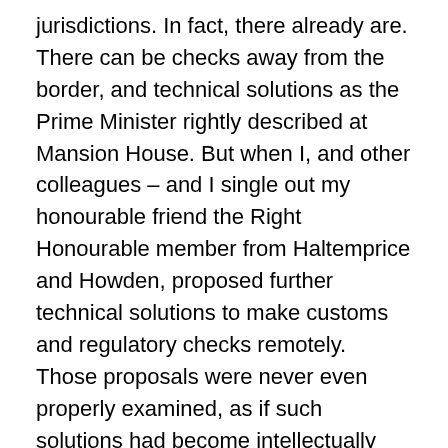jurisdictions. In fact, there already are. There can be checks away from the border, and technical solutions as the Prime Minister rightly described at Mansion House. But when I, and other colleagues – and I single out my honourable friend the Right Honourable member from Haltemprice and Howden, proposed further technical solutions to make customs and regulatory checks remotely. Those proposals were never even properly examined, as if such solutions had become intellectually undesirable in the context of the argument. And somehow, after the December joint report, whose backstop arrangement we were all told was entirely provisional, never to be invoked, it became taboo even to discuss technical fixes. So Mr Speaker, after 18 months of stealthy retreat we have come from the bright certainties of Lancaster house to the Chequers agreement, and you put them side by side. Lancaster house said laws will once again be made in